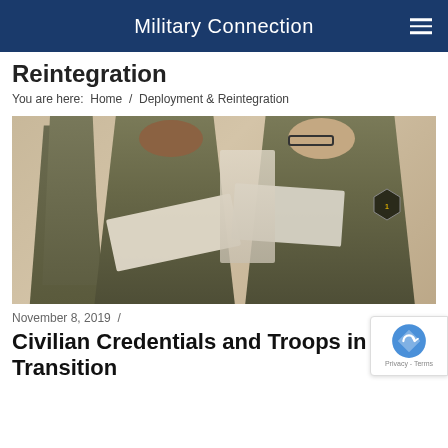Military Connection
Reintegration
You are here:  Home / Deployment & Reintegration
[Figure (photo): Two female soldiers in camouflage uniforms reading documents together at what appears to be an indoor event or fair. A male soldier is visible in the background. One soldier on the right wears a 1st Cavalry Division patch on her arm and glasses.]
November 8, 2019  /
Civilian Credentials and Troops in Transition